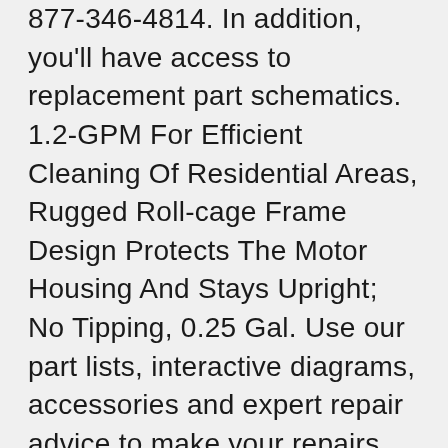877-346-4814. In addition, you'll have access to replacement part schematics. 1.2-GPM For Efficient Cleaning Of Residential Areas, Rugged Roll-cage Frame Design Protects The Motor Housing And Stays Upright; No Tipping, 0.25 Gal. Use our part lists, interactive diagrams, accessories and expert repair advice to make your repairs easy. Price $ 92. 00: Sale Price $ 89. Filesize: 2.26 MB, RY141600_090079268_343_QRG_fr_02.pdf Price $ 149. We were unable to add your email to our mailing list. Filesize: 763 KB, RY141600_090079280_344_rpl__r_01.pdf RY141600 Parts Breakdown RY141600 Owners Manual POWER WASHER PARTS FOR